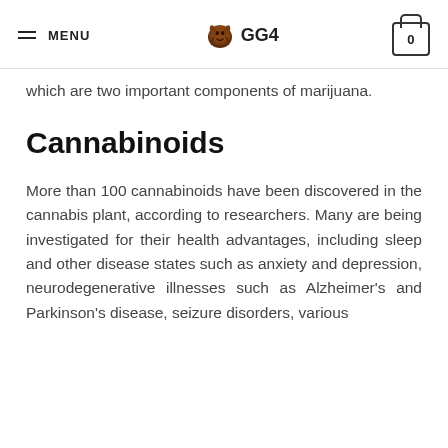MENU  🦍 GG4  0
which are two important components of marijuana.
Cannabinoids
More than 100 cannabinoids have been discovered in the cannabis plant, according to researchers. Many are being investigated for their health advantages, including sleep and other disease states such as anxiety and depression, neurodegenerative illnesses such as Alzheimer's and Parkinson's disease, seizure disorders, various